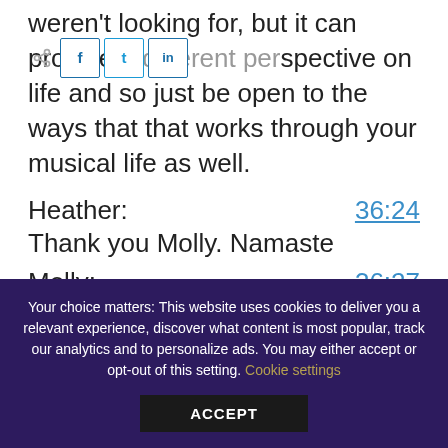weren't looking for, but it can provide a different perspective on life and so just be open to the ways that that works through your musical life as well.
Heather:   36:24
Thank you Molly. Namaste
Molly:   36:27
Thank you Heather.
Your choice matters: This website uses cookies to deliver you a relevant experience, discover what content is most popular, track our analytics and to personalize ads. You may either accept or opt-out of this setting.  Cookie settings  ACCEPT